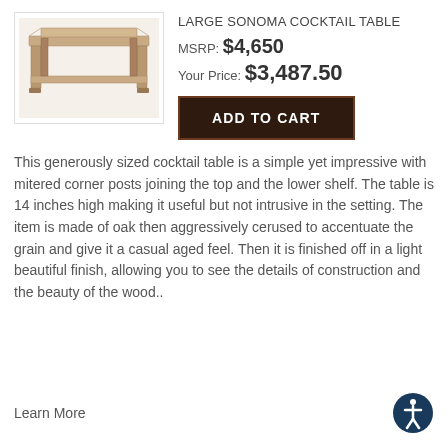[Figure (photo): Photo of a large square wooden cocktail table with a lower shelf, in a light cerused oak finish]
LARGE SONOMA COCKTAIL TABLE
MSRP: $4,650
Your Price: $3,487.50
ADD TO CART
This generously sized cocktail table is a simple yet impressive with mitered corner posts joining the top and the lower shelf. The table is 14 inches high making it useful but not intrusive in the setting. The item is made of oak then aggressively cerused to accentuate the grain and give it a casual aged feel. Then it is finished off in a light beautiful finish, allowing you to see the details of construction and the beauty of the wood..
Learn More